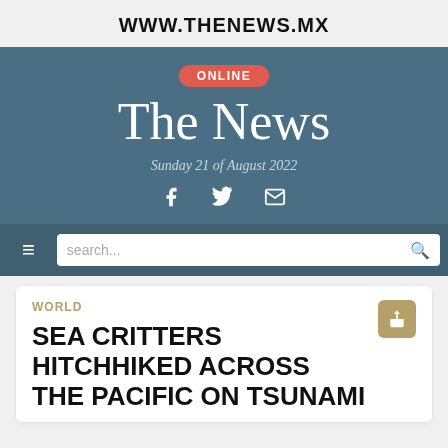WWW.THENEWS.MX
[Figure (logo): The News newspaper masthead on dark blue background with ONLINE badge, date Sunday 21 of August 2022, and social media icons for Facebook, Twitter, and email]
search...
WORLD
SEA CRITTERS HITCHHIKED ACROSS THE PACIFIC ON TSUNAMI